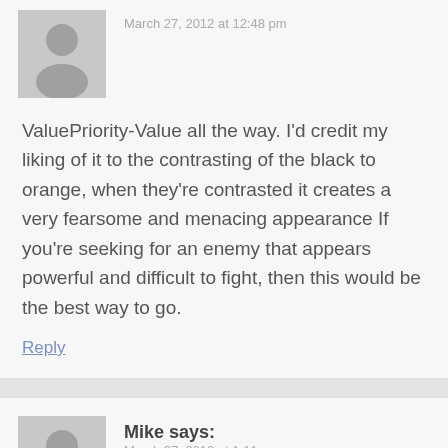March 27, 2012 at 12:48 pm
ValuePriority-Value all the way. I'd credit my liking of it to the contrasting of the black to orange, when they're contrasted it creates a very fearsome and menacing appearance If you're seeking for an enemy that appears powerful and difficult to fight, then this would be the best way to go.
Reply
Mike says:
March 27, 2012 at 1:11 pm
Thanks guys! What did you think of the last two